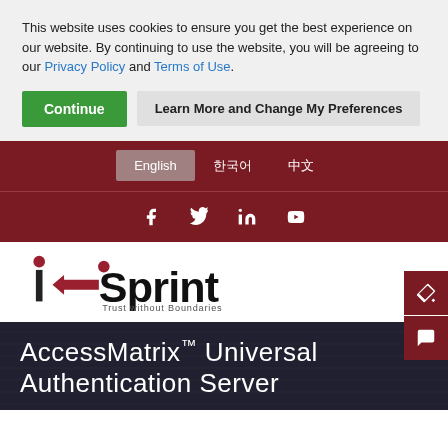This website uses cookies to ensure you get the best experience on our website. By continuing to use the website, you will be agreeing to our Privacy Policy and Terms of Use.
Continue | Learn More and Change My Preferences
English | 한국어 | 中文
[Figure (logo): i-Sprint logo with tagline 'Trust without Boundaries']
AccessMatrix™ Universal Authentication Server